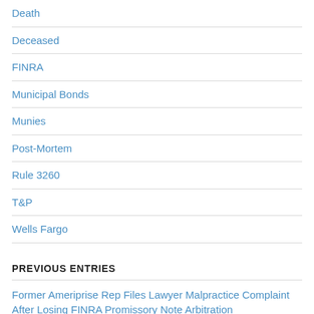Death
Deceased
FINRA
Municipal Bonds
Munies
Post-Mortem
Rule 3260
T&P
Wells Fargo
PREVIOUS ENTRIES
Former Ameriprise Rep Files Lawyer Malpractice Complaint After Losing FINRA Promissory Note Arbitration
August 22, 2022